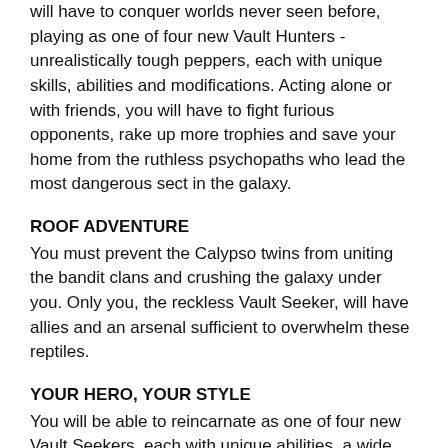will have to conquer worlds never seen before, playing as one of four new Vault Hunters - unrealistically tough peppers, each with unique skills, abilities and modifications. Acting alone or with friends, you will have to fight furious opponents, rake up more trophies and save your home from the ruthless psychopaths who lead the most dangerous sect in the galaxy.
ROOF ADVENTURE
You must prevent the Calypso twins from uniting the bandit clans and crushing the galaxy under you. Only you, the reckless Vault Seeker, will have allies and an arsenal sufficient to overwhelm these reptiles.
YOUR HERO, YOUR STYLE
You will be able to reincarnate as one of four new Vault Seekers, each with unique abilities, a wide range of skills and countless modifications. The Vault Seekers are a formidable force individually, but together they are simply unstoppable.
KILL AND COLLECT
Choose from a myriad of different guns and gadgets, and each skirmish promises a new mountain of trophies. Cannons